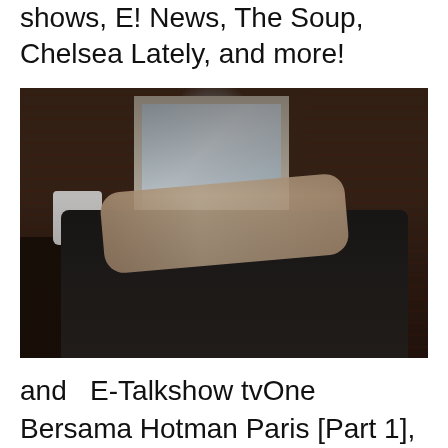shows, E! News, The Soup, Chelsea Lately, and more!
[Figure (photo): Person lying on a dark sofa/couch in a dimly lit room with brick walls and a large window letting in light. A vase with flowers sits on a side table.]
and  E-Talkshow tvOne Bersama Hotman Paris [Part 1], E Talk Shows Tvone Best Late Night Talk